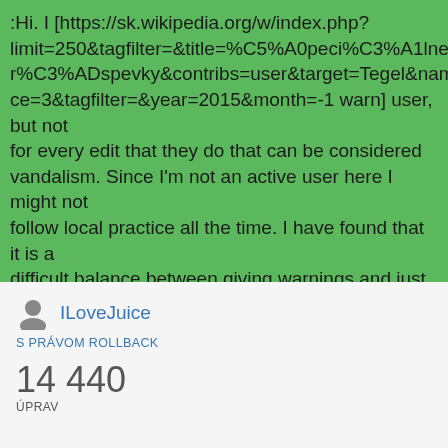:Hi. I [https://sk.wikipedia.org/w/index.php?limit=250&tagfilter=&title=%C5%A0peci%C3%A1lne%3APr%C3%ADspevky&contribs=user&target=Tegel&namespace=3&tagfilter=&year=2015&month=-1 warn] user, but not for every edit that they do that can be considered vandalism. Since I'm not an active user here I might not follow local practice all the time. I have found that it is a difficult balance between giving warnings and just revert the edit. Sometimes a warning can have a negative effect and only triggers more vandalism. I have the warning templ to use hi...
ILoveJuice
S PRÁVOM ROLLBACK
14 440
ÚPRAV